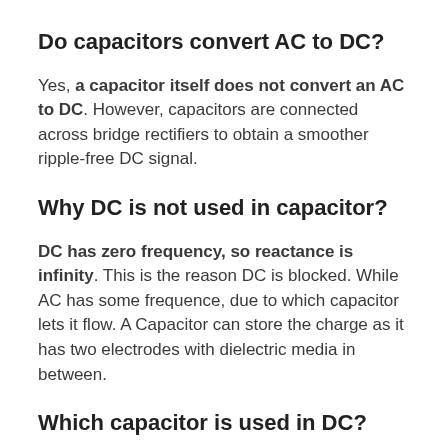Do capacitors convert AC to DC?
Yes, a capacitor itself does not convert an AC to DC. However, capacitors are connected across bridge rectifiers to obtain a smoother ripple-free DC signal.
Why DC is not used in capacitor?
DC has zero frequency, so reactance is infinity. This is the reason DC is blocked. While AC has some frequence, due to which capacitor lets it flow. A Capacitor can store the charge as it has two electrodes with dielectric media in between.
Which capacitor is used in DC?
Typically, dry tantalum capacitors are utilized in circuits where the DC voltage is larger when compared to the AC.